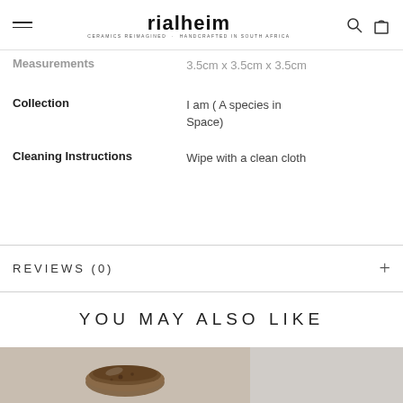rialheim — CERAMICS REIMAGINED · HANDCRAFTED IN SOUTH AFRICA
| Field | Value |
| --- | --- |
| Measurements | 3.5cm x 3.5cm x 3.5cm |
| Collection | I am ( A species in Space) |
| Cleaning Instructions | Wipe with a clean cloth |
REVIEWS (0)
YOU MAY ALSO LIKE
[Figure (photo): Ceramic bowl product photo on light grey background]